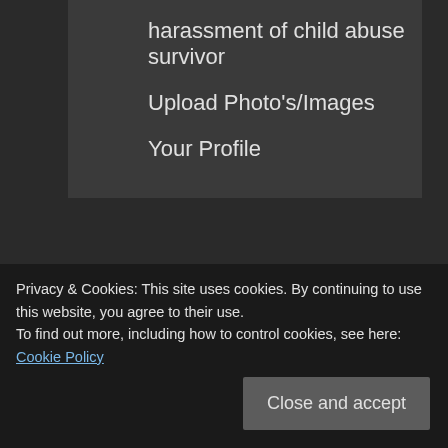harassment of child abuse survivor
Upload Photo's/Images
Your Profile
RECENT DISCUSSION – COMMENTS
MarkCarlisle on YOU can prevent the DWP
relationship
Privacy & Cookies: This site uses cookies. By continuing to use this website, you agree to their use.
To find out more, including how to control cookies, see here: Cookie Policy
Close and accept